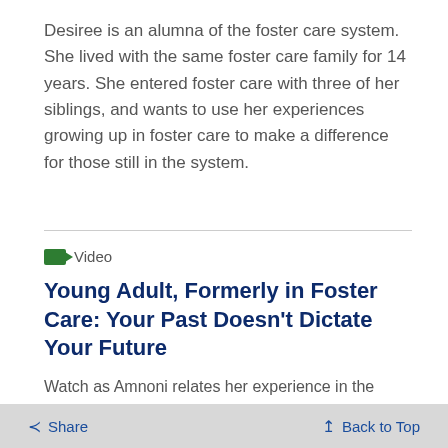Desiree is an alumna of the foster care system. She lived with the same foster care family for 14 years. She entered foster care with three of her siblings, and wants to use her experiences growing up in foster care to make a difference for those still in the system.
Video
Young Adult, Formerly in Foster Care: Your Past Doesn't Dictate Your Future
Watch as Amnoni relates her experience in the foster car system, including her struggles and quest for stability and normalcy.
Share   Back to Top